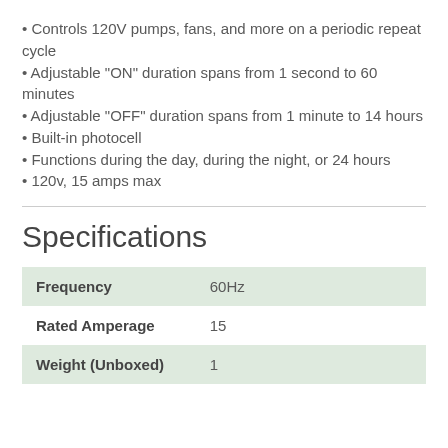Controls 120V pumps, fans, and more on a periodic repeat cycle
Adjustable "ON" duration spans from 1 second to 60 minutes
Adjustable "OFF" duration spans from 1 minute to 14 hours
Built-in photocell
Functions during the day, during the night, or 24 hours
120v, 15 amps max
Specifications
|  |  |
| --- | --- |
| Frequency | 60Hz |
| Rated Amperage | 15 |
| Weight (Unboxed) | 1 |